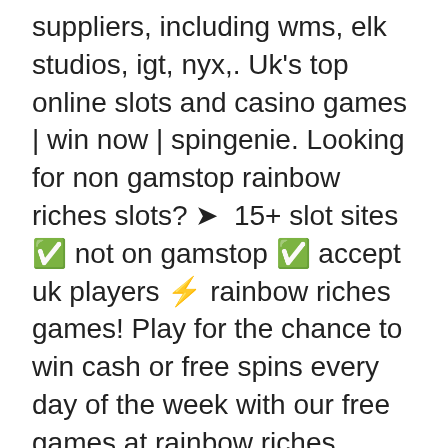suppliers, including wms, elk studios, igt, nyx,. Uk's top online slots and casino games | win now | spingenie. Looking for non gamstop rainbow riches slots? ➤ 15+ slot sites ✅ not on gamstop ✅ accept uk players ⚡ rainbow riches games! Play for the chance to win cash or free spins every day of the week with our free games at rainbow riches casino. Play £10, get 30 free spins (t&amp;cs apply). There is no free spins bonus in the original rainbow riches slot. Play the famous rainbow riches slot game at fruity king! enjoy the uk's favourite slot game on you mobile phone or desktop. Com is a hot source for the overviews and game play experience of rainbow riches slot games and sites. Enjoy our wide range of rainbow riches online slot games at monopoly casino. Strike gold on your favourite game in this iconic slot series (t&amp;cs apply). The rainbow riches slot has long stood as a top online casino